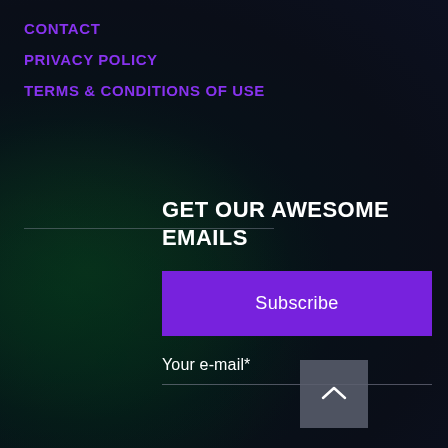CONTACT
PRIVACY POLICY
TERMS & CONDITIONS OF USE
GET OUR AWESOME EMAILS
Subscribe
Your e-mail*